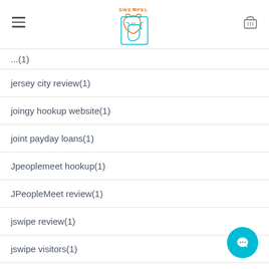SweetPel logo with hamburger menu and basket icon
jersey city review(1)
joingy hookup website(1)
joint payday loans(1)
Jpeoplemeet hookup(1)
JPeopleMeet review(1)
jswipe review(1)
jswipe visitors(1)
kansas sugar daddy apps(1)
kansas city escort(1)
katholicdatingsite visitors(1) [truncated]